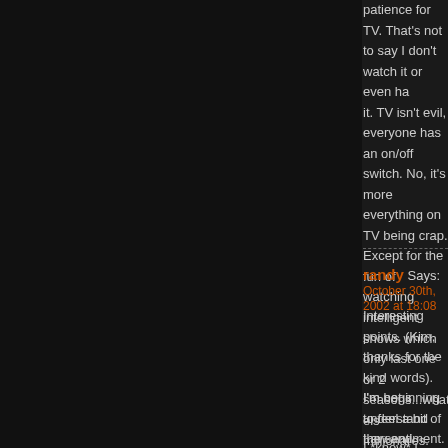patience for TV. That's not to say I don't watch it or even hate it. TV isn't evil, everyone has an on/off switch. No, it's more everything on TV being crap. Except for the fun of watching intelligent shows which only last one or 2 seasons...what else. millionares. Lame sitcoms. Derivative dramas. Hell, most of spinoffs of shows that are still on!! Can't we do better than th 3 Law & Order's a week.
randy Says: October 30th, 2002 at 18:08
Interesting points. (Kim, thanks for the kind words). I'm not s understand the sentiment. TV takes us away from everything important. It's finding the balance, which I've never done. I g Seinfeld ended. I've lost all tolerance for them. Odd, since th laugh.
I'm beginning to feel a bit of Law and Order overload. I do ag and produced shows. Sopranos and Six Feet Under come to The Sopranos will end next year; same with OZ, another po
I *know* I watch too much tv...
randy Says: October 30th, 2002 at 18:09
Oh, I almost forgot, HAPPY BIRTHDAY MIKEY!!!!!!!!!